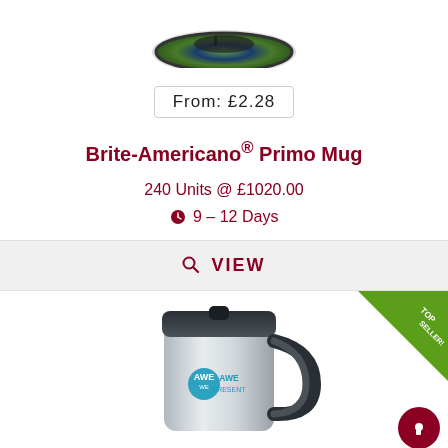[Figure (photo): Brite-Americano Primo Mug product photo with colorful printed wrap showing nature/running scenes, viewed from above at angle, partially visible at top of page]
From: £2.28
Brite-Americano® Primo Mug
240 Units @ £1020.00
🕐 9 – 12 Days
🔍 VIEW
[Figure (photo): Stainless steel travel mug with dark handle and lid, branded with 'AWE PRESENT' logo in teal, shown in bottom half of page. Top seller badge in green in top-right corner.]